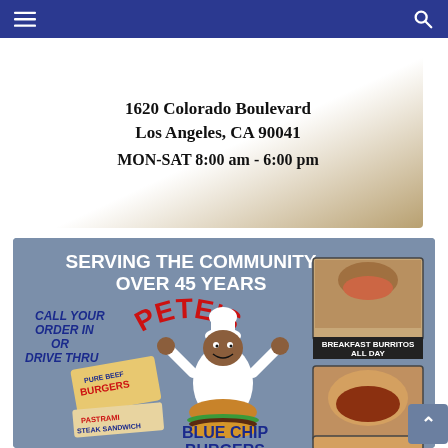Navigation bar with hamburger menu icon and search icon
1620 Colorado Boulevard
Los Angeles, CA 90041
MON-SAT 8:00 am - 6:00 pm
[Figure (illustration): Pete's restaurant advertisement on blue-grey background. Text reads: SERVING THE COMMUNITY OVER 45 YEARS. Chef cartoon mascot holding a burger. Signs: PURE BEEF BURGERS, PASTRAMI STEAK SANDWICH. Text: CALL YOUR ORDER IN OR DRIVE THRU. PETE'S in red arc letters. BLUE CHIP BURGERS in blue text. Food photos on right side showing breakfast burritos and other items. Caption on photo: BREAKFAST BURRITOS ALL DAY.]